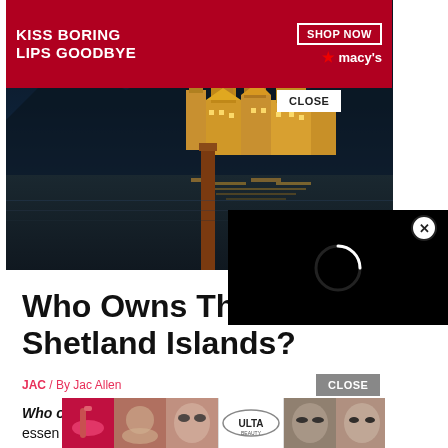[Figure (photo): Advertisement banner for Macy's cosmetics: dark red/crimson background with text 'KISS BORING LIPS GOODBYE', SHOP NOW button outlined, and Macy's star logo. Woman's face with red lips visible.]
[Figure (photo): Nighttime photo of an illuminated historic town or island (resembling Isola San Giulio, Italy) reflected in dark water, with a wooden dock post in the foreground. Dark blue sky and mountains in background.]
[Figure (screenshot): Black video loading overlay panel with a white spinner/loading circle, covering the right portion of the main image.]
Who Owns The Shetland Islands?
JAC / By Jac Allen
[Figure (photo): Bottom advertisement strip showing ULTA Beauty ad with multiple images of women's makeup/cosmetics and a SHOP NOW button with CLOSE button.]
Who o
essen